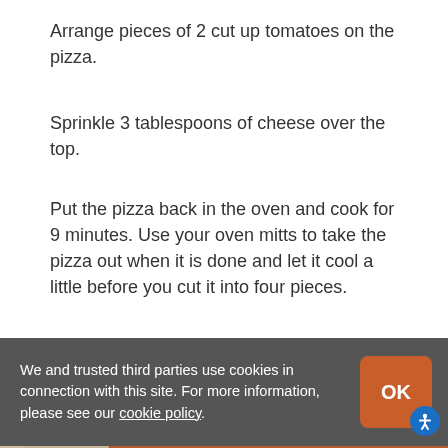Arrange pieces of 2 cut up tomatoes on the pizza.
Sprinkle 3 tablespoons of cheese over the top.
Put the pizza back in the oven and cook for 9 minutes. Use your oven mitts to take the pizza out when it is done and let it cool a little before you cut it into four pieces.
[Figure (illustration): Decorative brown/tan curved shapes forming a background illustration with white script letters partially visible at the bottom]
We and trusted third parties use cookies in connection with this site. For more information, please see our cookie policy.